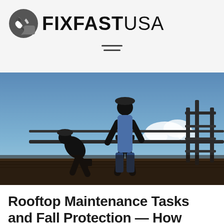FIXFASTUSA
[Figure (photo): Two construction workers silhouetted against a blue sky on a rooftop scaffold, one bending over using a nail gun, the other standing and holding a rail. Metal scaffolding pipes visible on the right side.]
Rooftop Maintenance Tasks and Fall Protection — How